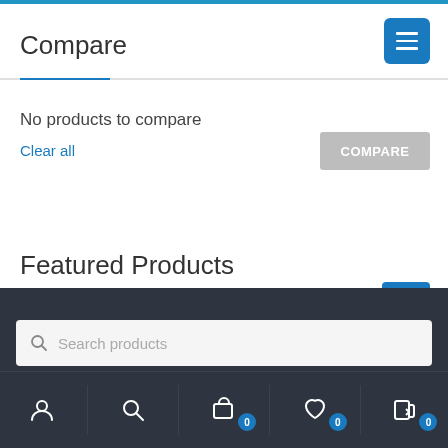Compare
No products to compare
Clear all
Featured Products
Search products
[Figure (screenshot): Mobile e-commerce app UI showing Compare page with no products, Featured Products section, search bar, and bottom navigation bar with account, search, cart (0), wishlist (0), and compare (0) icons]